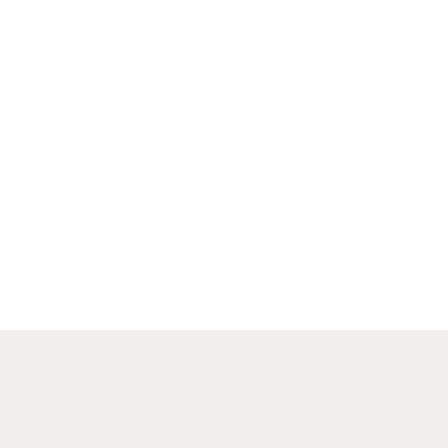ACCELL CABLES
• 17011 Douglas Road...